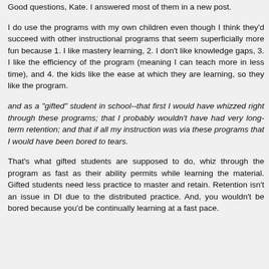Good questions, Kate. I answered most of them in a new post.
I do use the programs with my own children even though I think they'd succeed with other instructional programs that seem superficially more fun because 1. I like mastery learning, 2. I don't like knowledge gaps, 3. I like the efficiency of the program (meaning I can teach more in less time), and 4. the kids like the ease at which they are learning, so they like the program.
and as a "gifted" student in school--that first I would have whizzed right through these programs; that I probably wouldn't have had very long-term retention; and that if all my instruction was via these programs that I would have been bored to tears.
That's what gifted students are supposed to do, whiz through the program as fast as their ability permits while learning the material. Gifted students need less practice to master and retain. Retention isn't an issue in DI due to the distributed practice. And, you wouldn't be bored because you'd be continually learning at a fast pace.